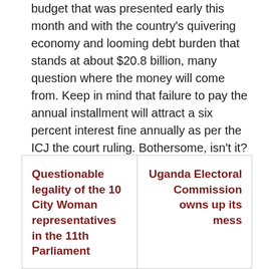budget that was presented early this month and with the country's quivering economy and looming debt burden that stands at about $20.8 billion, many question where the money will come from. Keep in mind that failure to pay the annual installment will attract a six percent interest fine annually as per the ICJ the court ruling. Bothersome, isn't it?
Questionable legality of the 10 City Woman representatives in the 11th Parliament
Uganda Electoral Commission owns up its mess